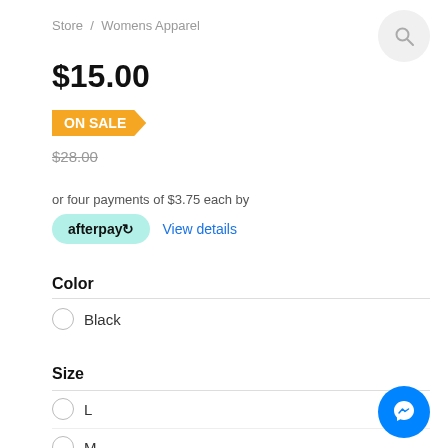Store / Womens Apparel
$15.00
ON SALE
$28.00
or four payments of $3.75 each by
afterpay  View details
Color
Black
Size
L
M